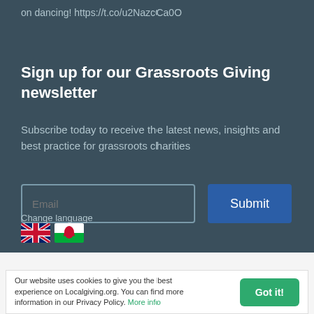on dancing! https://t.co/u2NazcCa0O
Sign up for our Grassroots Giving newsletter
Subscribe today to receive the latest news, insights and best practice for grassroots charities
Change language
[Figure (other): UK and Welsh flag icons for language selection]
Our website uses cookies to give you the best experience on Localgiving.org. You can find more information in our Privacy Policy. More info